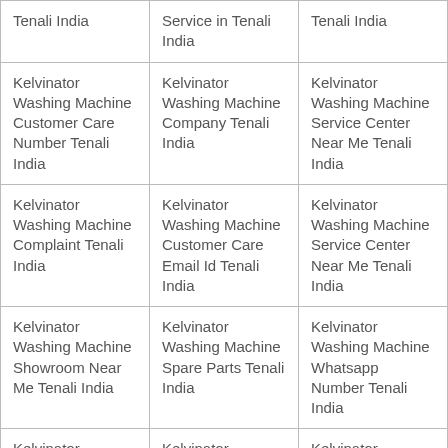| Tenali India | Service in Tenali India | Tenali India |
| Kelvinator Washing Machine Customer Care Number Tenali India | Kelvinator Washing Machine Company Tenali India | Kelvinator Washing Machine Service Center Near Me Tenali India |
| Kelvinator Washing Machine Complaint Tenali India | Kelvinator Washing Machine Customer Care Email Id Tenali India | Kelvinator Washing Machine Service Center Near Me Tenali India |
| Kelvinator Washing Machine Showroom Near Me Tenali India | Kelvinator Washing Machine Spare Parts Tenali India | Kelvinator Washing Machine Whatsapp Number Tenali India |
| Kelvinator | Kelvinator | Kelvinator |